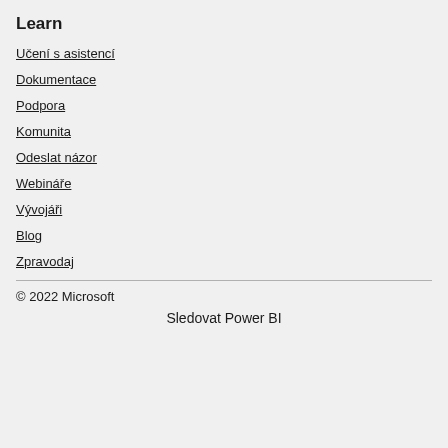Learn
Učení s asistencí
Dokumentace
Podpora
Komunita
Odeslat názor
Webináře
Vývojáři
Blog
Zpravodaj
© 2022 Microsoft
Sledovat Power BI